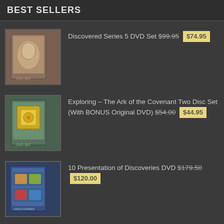BEST SELLERS
[Figure (photo): DVD box set product image - Discovered Series 5 DVD Set]
Discovered Series 5 DVD Set $99.95 $74.95
[Figure (photo): DVD product image - Exploring The Ark of the Covenant Two Disc Set]
Exploring – The Ark of the Covenant Two Disc Set (With BONUS Original DVD) $54.00 $44.95
[Figure (photo): DVD product image - 10 Presentation of Discoveries DVD]
10 Presentation of Discoveries DVD $179.50 $120.00
Copyright © 2022 Wyatt Archaeological Research